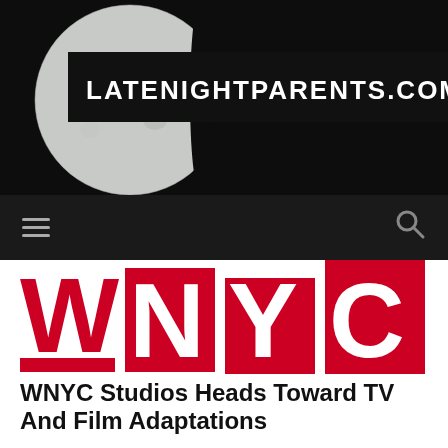[Figure (screenshot): LateNightParents.com website header with moon background image and dark banner showing the site name in white bold uppercase letters]
[Figure (logo): WNYC logo with red rectangular blocks behind N, Y, C letters and red W with two horizontal red bars]
WNYC Studios Heads Toward TV And Film Adaptations